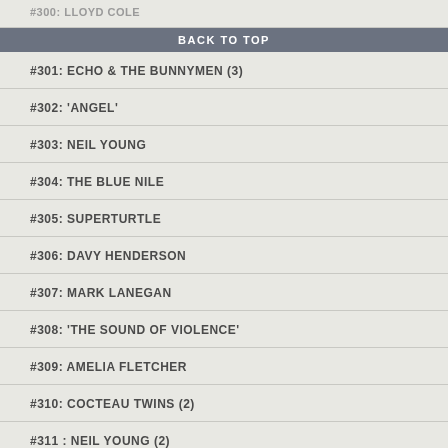#300: LLOYD COLE
BACK TO TOP
#301: ECHO & THE BUNNYMEN (3)
#302: 'ANGEL'
#303: NEIL YOUNG
#304: THE BLUE NILE
#305: SUPERTURTLE
#306: DAVY HENDERSON
#307: MARK LANEGAN
#308: 'THE SOUND OF VIOLENCE'
#309: AMELIA FLETCHER
#310: COCTEAU TWINS (2)
#311 : NEIL YOUNG (2)
#312: DINOSAUR JR.
#313: THE SWEET